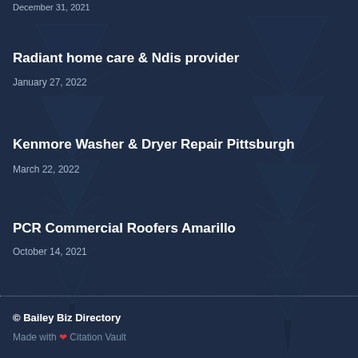December 31, 2021
Radiant home care & Ndis provider
January 27, 2022
Kenmore Washer & Dryer Repair Pittsburgh
March 22, 2022
PCR Commercial Roofers Amarillo
October 14, 2021
© Bailey Biz Directory
Made with ❤ Citation Vault